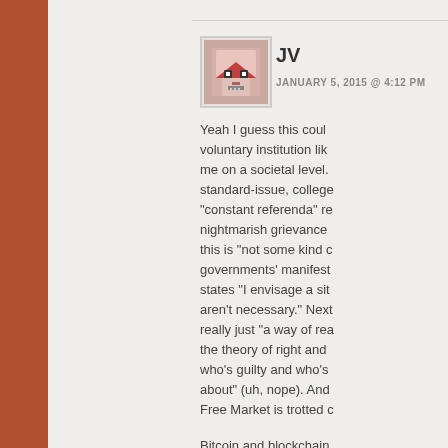[Figure (illustration): Brown/orange decorative left sidebar strip]
[Figure (illustration): Pixelated/retro avatar icon showing a robot-like face with pink/red color scheme]
JV
JANUARY 5, 2015 @ 4:12 PM
Yeah I guess this could be a voluntary institution like me on a societal level. standard-issue, college "constant referenda" re nightmarish grievance this is "not some kind of governments' manifests states "I envisage a sit aren't necessary." Next really just "a way of rea the theory of right and who's guilty and who's about" (uh, nope). And Free Market is trotted o
Bitcoin and blockchain interesting as a shadow laws catch up (albeit te